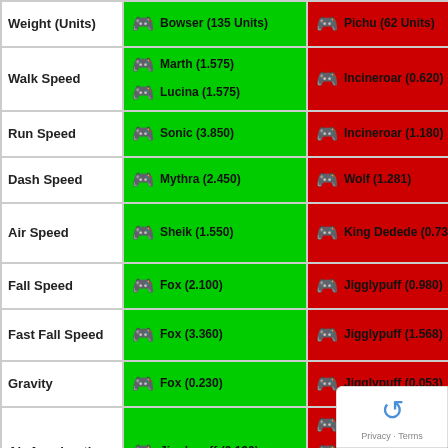| Stat | Highest | Lowest |
| --- | --- | --- |
| Weight (Units) | Bowser (135 Units) | Pichu (62 Units) |
| Walk Speed | Marth (1.575) / Lucina (1.575) | Incineroar (0.620) |
| Run Speed | Sonic (3.850) | Incineroar (1.180) |
| Dash Speed | Mythra (2.450) | Wolf (1.281) |
| Air Speed | Sheik (1.550) | King Dedede (0.735) |
| Fall Speed | Fox (2.100) | Jigglypuff (0.980) |
| Fast Fall Speed | Fox (3.360) | Jigglypuff (1.568) |
| Gravity | Fox (0.230) | Jigglypuff (0.053) |
| Air Acceleration | Jigglypuff (0.130) | Snake (0.030) / Simon (0.030) / Richter (0.030) |
| Short Hop | Greninja (22.110) | Steve (10.000) / Sephiroth (10.000) |